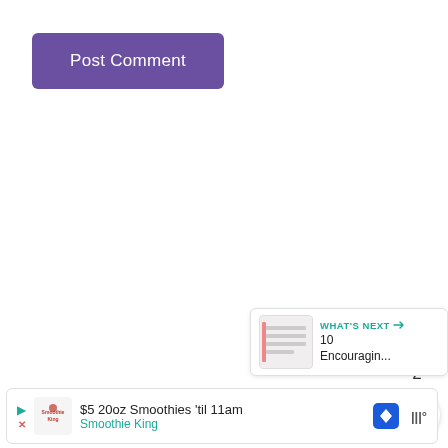[Figure (screenshot): Purple 'Post Comment' button]
[Figure (screenshot): Teal circular like/heart button with count '2' and share button below]
[Figure (screenshot): What's Next widget showing '10 Encouragin...' with thumbnail]
[Figure (screenshot): Advertisement bar: $5 20oz Smoothies 'til 11am - Smoothie King]